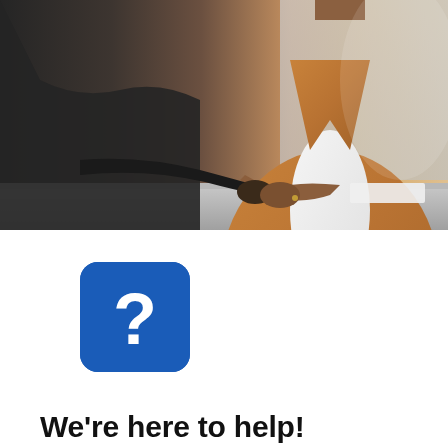[Figure (photo): Two people shaking hands across a table in a professional setting; a woman in a tan/brown blazer over a white blouse is visible on the right side reaching forward to shake hands with a person in a dark suit on the left.]
[Figure (illustration): Blue rounded-square icon with a white question mark symbol.]
We're here to help!
Our mission is to provide high quality